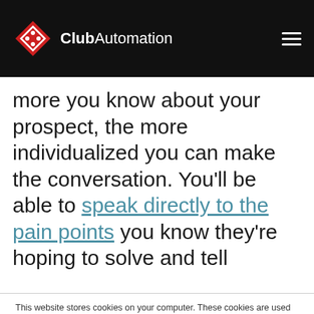Club Automation
more you know about your prospect, the more individualized you can make the conversation. You'll be able to speak directly to the pain points you know they're hoping to solve and tell
This website stores cookies on your computer. These cookies are used to improve your website experience and provide more personalized services to you, both on this website and through other media. To find out more about the cookies we use, see our Privacy Policy.
We won't track your information when you visit our site. But in order to comply with your preferences, we'll have to use just one tiny cookie so that you're not asked to make this choice again.